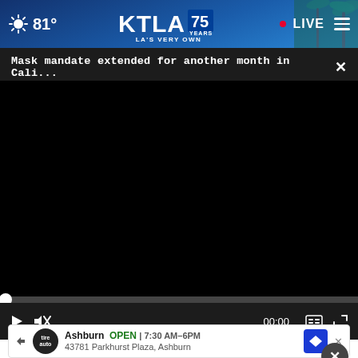81° KTLA 75 YEARS LA'S VERY OWN • LIVE
Mask mandate extended for another month in Cali...
[Figure (screenshot): Black video player area with playback controls showing 00:00 timestamp]
Top Nutritionist: 1 Vitamin You Need for Crepe Skin
Ashburn  OPEN | 7:30 AM–6PM  43781 Parkhurst Plaza, Ashburn